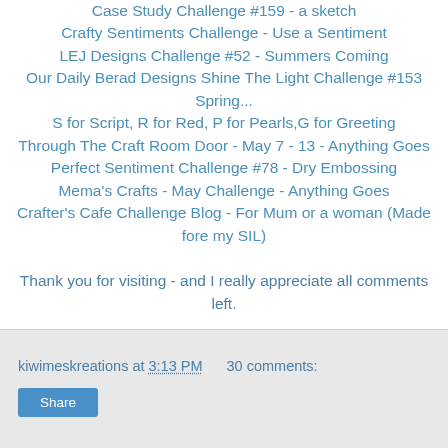Case Study Challenge #159 - a sketch
Crafty Sentiments Challenge - Use a Sentiment
LEJ Designs Challenge #52 - Summers Coming
Our Daily Berad Designs Shine The Light Challenge #153 Spring...
S for Script, R for Red, P for Pearls,G for Greeting
Through The Craft Room Door - May 7 - 13 - Anything Goes
Perfect Sentiment Challenge #78 - Dry Embossing
Mema's Crafts - May Challenge - Anything Goes
Crafter's Cafe Challenge Blog - For Mum or a woman (Made fore my SIL)
Thank you for visiting - and I really appreciate all comments left.
May your day be blessed
kiwimeskreations at 3:13 PM   30 comments: